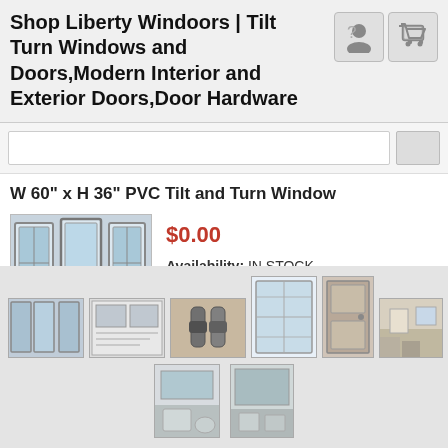Shop Liberty Windoors | Tilt Turn Windows and Doors,Modern Interior and Exterior Doors,Door Hardware
[Figure (screenshot): User account icon and shopping cart icon buttons]
[Figure (screenshot): Search input bar with button]
W 60" x H 36" PVC Tilt and Turn Window
[Figure (photo): Product image showing three white PVC tilt-and-turn windows]
$0.00
Availability:  IN STOCK
[Figure (photo): Gallery thumbnails: tilt-turn window, diagram, hardware, interior window, door, room interior, room interior, bathroom, bathroom]